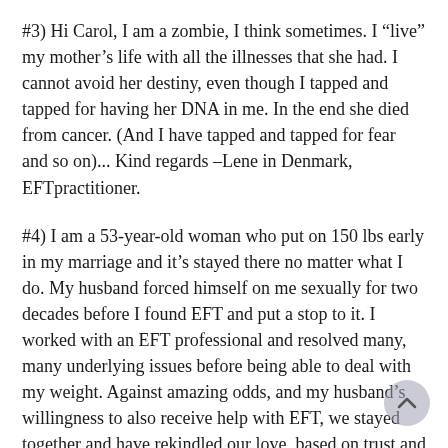#3) Hi Carol, I am a zombie, I think sometimes. I “live” my mother’s life with all the illnesses that she had. I cannot avoid her destiny, even though I tapped and tapped for having her DNA in me. In the end she died from cancer. (And I have tapped and tapped for fear and so on)... Kind regards –Lene in Denmark, EFTpractitioner.
#4) I am a 53-year-old woman who put on 150 lbs early in my marriage and it’s stayed there no matter what I do. My husband forced himself on me sexually for two decades before I found EFT and put a stop to it. I worked with an EFT professional and resolved many, many underlying issues before being able to deal with my weight. Against amazing odds, and my husband’s willingness to also receive help with EFT, we stayed together and have rekindled our love, based on trust and respect. Now it’s time for me to deal with my weight, but I am afraid to let go of the fat that I used as protection all those years. It’s an irrational fear – the threat is